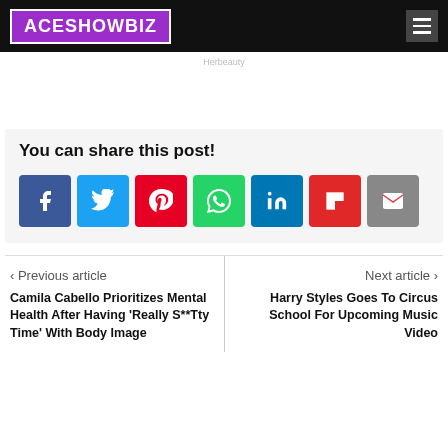ACESHOWBIZ
Herbeauty
You can share this post!
[Figure (infographic): Social media share buttons: Facebook, Twitter, Pinterest, WhatsApp, LinkedIn, Flipboard, Email]
< Previous article
Camila Cabello Prioritizes Mental Health After Having 'Really S**Tty Time' With Body Image
Next article >
Harry Styles Goes To Circus School For Upcoming Music Video